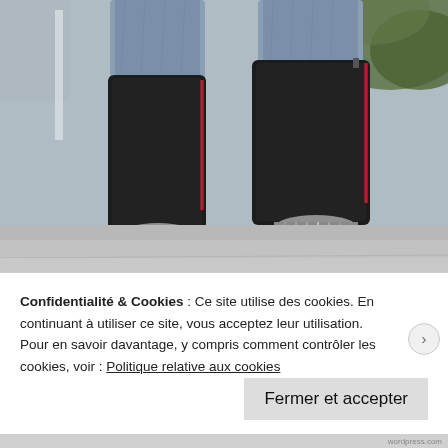[Figure (photo): Photograph of a person wearing light blue jeans and black ankle boots with cylindrical metallic heels and red stripe detail on the back, photographed from behind on a concrete ground with green foliage in the background.]
Confidentialité & Cookies : Ce site utilise des cookies. En continuant à utiliser ce site, vous acceptez leur utilisation.
Pour en savoir davantage, y compris comment contrôler les cookies, voir : Politique relative aux cookies
Fermer et accepter